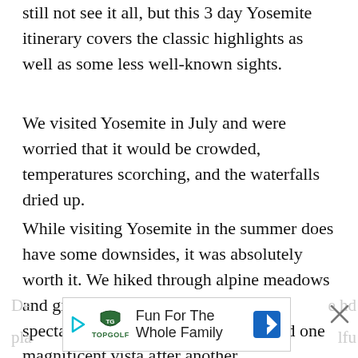still not see it all, but this 3 day Yosemite itinerary covers the classic highlights as well as some less well-known sights.
We visited Yosemite in July and were worried that it would be crowded, temperatures scorching, and the waterfalls dried up.
While visiting Yosemite in the summer does have some downsides, it was absolutely worth it. We hiked through alpine meadows and giant sequoia groves, gazed at spectacular granite peaks, and admired one magnificent vista after another.
[Figure (other): Advertisement banner at bottom of page: Topgolf logo with play arrow icon, tagline 'Fun For The Whole Family', blue navigation/map icon, close X button. Partially visible text behind the ad reads 'De... le hd' and 'pla... lfu...']